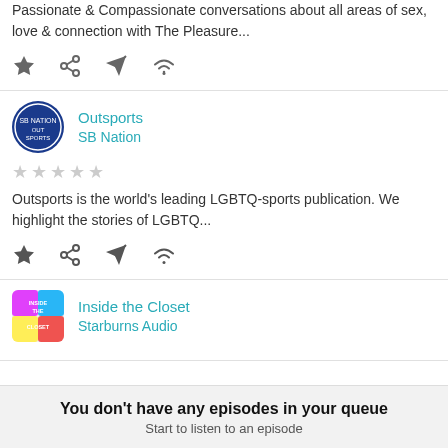Passionate & Compassionate conversations about all areas of sex, love & connection with The Pleasure...
[Figure (screenshot): Action icons row: star, share, send, wifi/streaming]
Outsports
SB Nation
[Figure (screenshot): Five empty star rating icons]
Outsports is the world's leading LGBTQ-sports publication. We highlight the stories of LGBTQ...
[Figure (screenshot): Action icons row: star, share, send, wifi/streaming]
Inside the Closet
Starburns Audio
You don't have any episodes in your queue
Start to listen to an episode